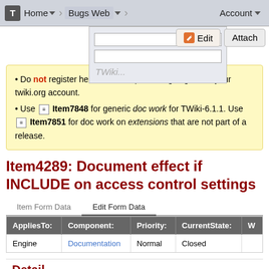Home | Bugs Web | Account
Do not register here on develop.twiki.org, login with your twiki.org account.
Use Item7848 for generic doc work for TWiki-6.1.1. Use Item7851 for doc work on extensions that are not part of a release.
Item4289: Document effect if INCLUDE on access control settings
Item Form Data   Edit Form Data
| AppliesTo: | Component: | Priority: | CurrentState: | W |
| --- | --- | --- | --- | --- |
| Engine | Documentation | Normal | Closed |  |
Detail